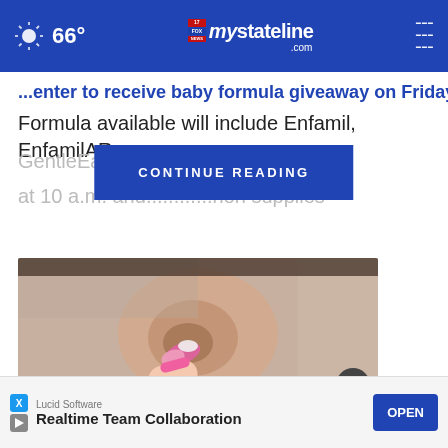66° mystateline.com
...enter to receive baby formula giveaway on Friday.
Formula available will include Enfamil, EnfamilAR, GentleEase, an... way will begin at 10 a.m. and... ...non supplies
[Figure (screenshot): CONTINUE READING button overlay in blue]
[Figure (photo): Close-up photo of a person inserting an earplug or hearing aid into their ear, with pink fingernails visible]
Lucid Software
Realtime Team Collaboration
Ad by lucid.com
OPEN